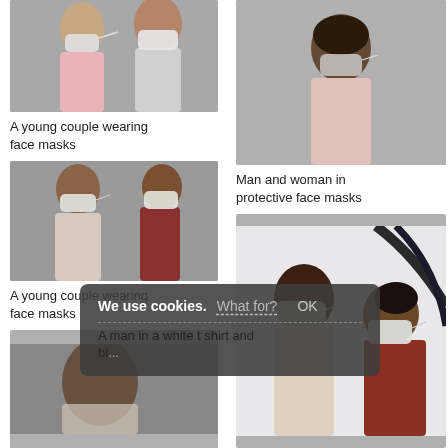[Figure (photo): A young couple wearing face masks against a gray background]
A young couple wearing face masks
[Figure (photo): Man and woman in protective face masks, woman in pink shirt from behind, man in dark red shirt from front]
Man and woman in protective face masks
[Figure (photo): A young couple wearing face masks, man in light pink shirt, woman in dark red top, gray background]
A young couple wearing face masks
[Figure (photo): A man in a white t shirt and a woman wearing protective face masks in a bright interior]
[Figure (photo): Partial photo of a person, cookie banner overlay visible]
We use cookies. What for? OK
A man in a white t shirt and black t-shirt wearing face masks